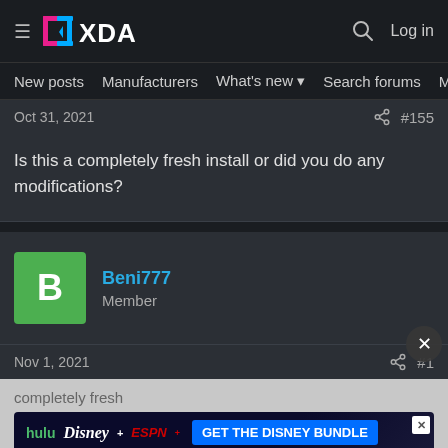XDA — Navigation bar with hamburger menu, XDA logo, search icon, Log in
New posts  Manufacturers  What's new  Search forums  Membe  >
Oct 31, 2021  #155
Is this a completely fresh install or did you do any modifications?
Beni777
Member
Nov 1, 2021  #1
completely fresh
[Figure (screenshot): Disney Bundle advertisement banner: hulu, Disney+, ESPN+ logos with 'GET THE DISNEY BUNDLE' CTA button. Fine print: Incl. Hulu (ad-supported) or Hulu (No Ads). Access content from each service separately. ©2021 Disney and its related entities.]